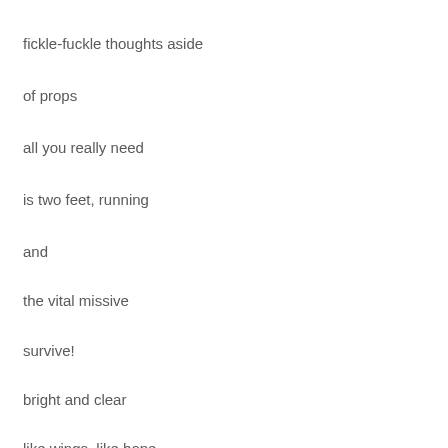fickle-fuckle thoughts aside
of props
all you really need
is two feet, running
and
the vital missive
survive!
bright and clear
like wings, like hope